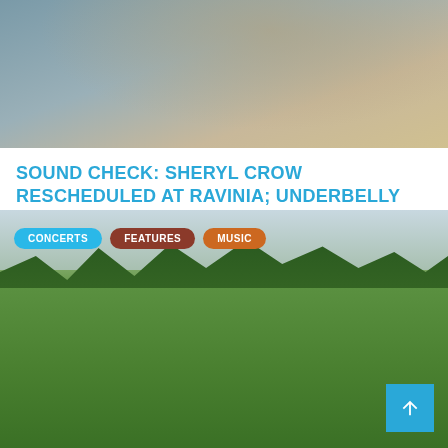[Figure (photo): Close-up photo of a person in denim holding a brown acoustic guitar, cropped to show hands and instrument]
SOUND CHECK: SHERYL CROW RESCHEDULED AT RAVINIA; UNDERBELLY HOURS SHOWCASE
BY BRIAN SHAMIE   6 DAYS AGO
[Figure (photo): Woman with long blonde hair wearing a hat and floral dress, sitting on green grass in a field with a red acoustic guitar and flowers beside her. Tags: CONCERTS, FEATURES, MUSIC overlay the image.]